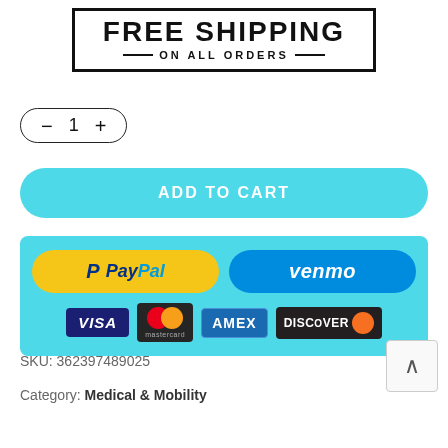[Figure (illustration): Free Shipping on All Orders badge/banner in a rectangular border with decorative lines]
[Figure (illustration): Quantity selector UI element showing minus button, number 1, and plus button in a pill-shaped border]
[Figure (illustration): Teal/cyan ADD TO CART button with rounded corners]
[Figure (illustration): Payment methods panel with teal background showing PayPal, Venmo, Visa, Mastercard, Amex, and Discover logos]
SKU: 362397489025
Category: Medical & Mobility